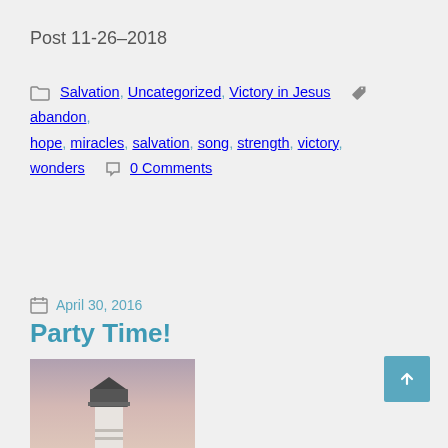Post 11-26-2018
Salvation, Uncategorized, Victory in Jesus   abandon, hope, miracles, salvation, song, strength, victory, wonders   0 Comments
April 30, 2016
Party Time!
[Figure (photo): Photograph of a white lighthouse with dark lantern room at top, set against a pink/purple dusk sky, with water in the foreground.]